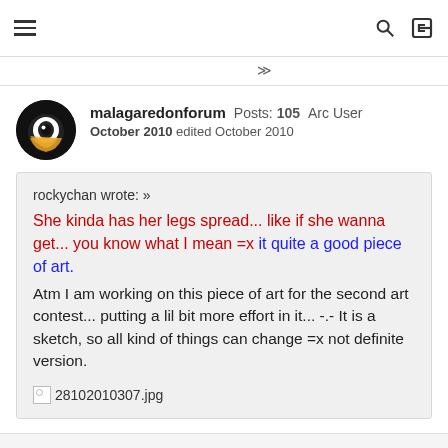≡  🔍  ↪
≫
malagaredonforum Posts: 105 Arc User
October 2010 edited October 2010
rockychan wrote: »
She kinda has her legs spread... like if she wanna get... you know what I mean =x it quite a good piece of art.
Atm I am working on this piece of art for the second art contest... putting a lil bit more effort in it... -.- It is a sketch, so all kind of things can change =x not definite version.
[image] 28102010307.jpg